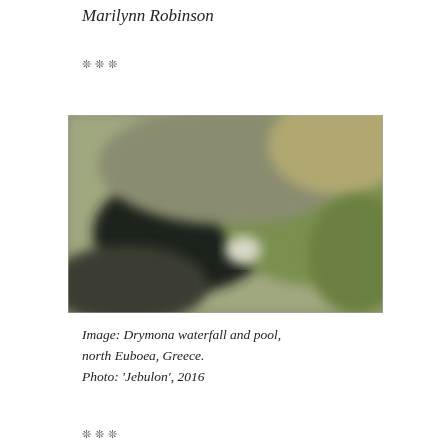Marilynn Robinson
❊❊❊
[Figure (photo): Blurred photograph of Drymona waterfall and pool, north Euboea, Greece. A scenic outdoor scene with green foliage, rocky terrain, and a dark pool of water beneath trees.]
Image: Drymona waterfall and pool, north Euboea, Greece. Photo: 'Jebulon', 2016
❊❊❊